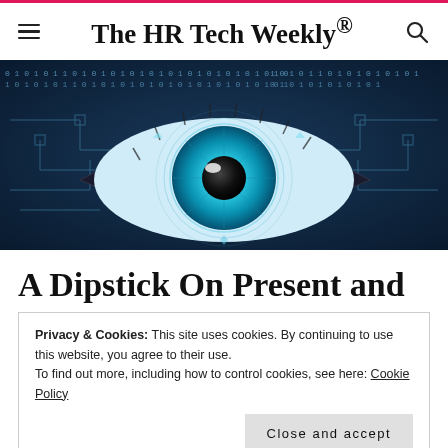The HR Tech Weekly®
[Figure (photo): Close-up of a human eye with blue iris overlaid with digital binary code and circuit patterns, creating a futuristic technology/AI aesthetic.]
A Dipstick On Present and
Privacy & Cookies: This site uses cookies. By continuing to use this website, you agree to their use.
To find out more, including how to control cookies, see here: Cookie Policy
Close and accept